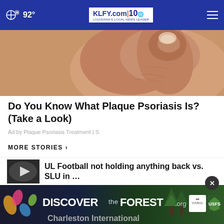92° KLFY.com 10
[Figure (photo): Close-up photo of a hand/thumb showing skin condition related to plaque psoriasis]
Do You Know What Plaque Psoriasis Is? (Take a Look)
Ad by Plaque Psoriasis Treatment | S
MORE STORIES ›
UL Football not holding anything back vs. SLU in ...
Ed-itorial: Nole doubt about it
Charleston International
[Figure (screenshot): DISCOVERtheFOREST.org advertisement banner with Ad Council and US Forest Service logos]